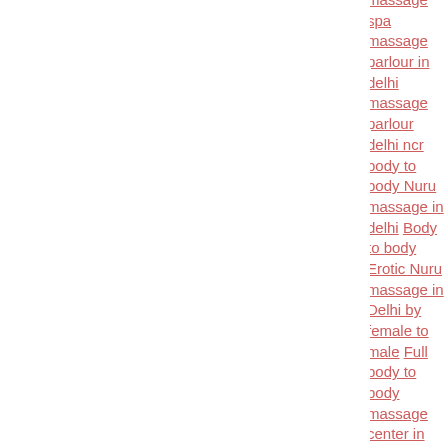massage spa massage parlour in delhi massage parlour delhi ncr body to body Nuru massage in delhi Body to body Erotic Nuru massage in Delhi by female to male Full body to body massage center in Delhi Green park best spa body to body south Delhi russian massage centre in delhi massage centre for men in delhi massage service in delhi hotels male massage parlours in gurgaon massage centre for men in delhi cheap massage in south delhi massage parlour rates in delhi full body massage parlours in delhi karol bagh Body to body Erotic Nuru massage in Delhi by female to male Full body to body massage center in Delhi Green park best spa body to body south Delhi cheap massage parlour in Green park delhi massage parlour phone number cheap massage centre in delhi Body to body Erotic Nuru massage in Delhi by female to male body massage rate in delhi delhi massage center job girls for massage in delhi cheap body massage parlour in delhi Body to body Erotic Nuru massage in Delhi by female to male Full body to body massage center in Delhi Green park best spa body to body south Delhi hotel massage in delhi body massage course in delhi job body massage center delhi ayurvedic body massage in delhi body massage by women in delhi job in massage center in delhi Body to body Erotic Nuru massage in Delhi by female to male massage by ladies in delhi Body to body Erotic Nuru massage in Delhi by female to male Full body to body massage center in Delhi Green park best spa body to body south Delhi neuro massage in Delhi male to male body massage in north delhi body to body slide massage body massage in delhi cheap massage in delhi massage services in new delhi